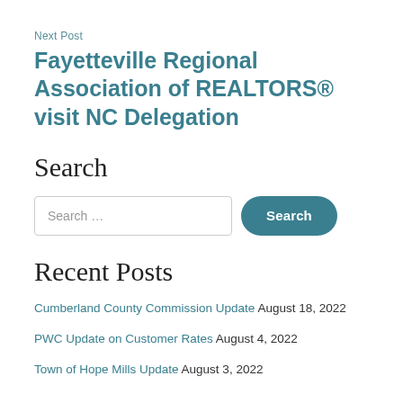Next Post
Fayetteville Regional Association of REALTORS® visit NC Delegation
Search
Search …
Recent Posts
Cumberland County Commission Update August 18, 2022
PWC Update on Customer Rates August 4, 2022
Town of Hope Mills Update August 3, 2022